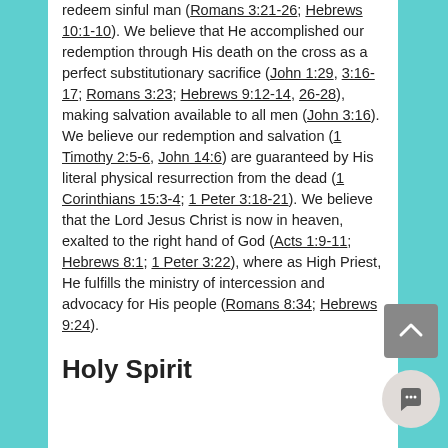redeem sinful man (Romans 3:21-26; Hebrews 10:1-10). We believe that He accomplished our redemption through His death on the cross as a perfect substitutionary sacrifice (John 1:29, 3:16-17; Romans 3:23; Hebrews 9:12-14, 26-28), making salvation available to all men (John 3:16). We believe our redemption and salvation (1 Timothy 2:5-6, John 14:6) are guaranteed by His literal physical resurrection from the dead (1 Corinthians 15:3-4; 1 Peter 3:18-21). We believe that the Lord Jesus Christ is now in heaven, exalted to the right hand of God (Acts 1:9-11; Hebrews 8:1; 1 Peter 3:22), where as High Priest, He fulfills the ministry of intercession and advocacy for His people (Romans 8:34; Hebrews 9:24).
Holy Spirit